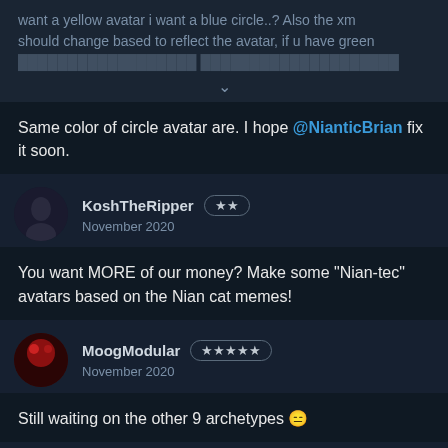want a yellow avatar i want a blue circle..? Also the xm should change based to reflect the avatar, if u have green [text obscured]
Same color of circle avatar are. I hope @NianticBrian fix it soon.
KoshTheRipper ★★ November 2020
You want MORE of our money? Make some "Nian-tec" avatars based on the Nian cat memes!
MoogModular ★★★★★ November 2020
Still waiting on the other 9 archetypes 😑
mortuus ★★★★★